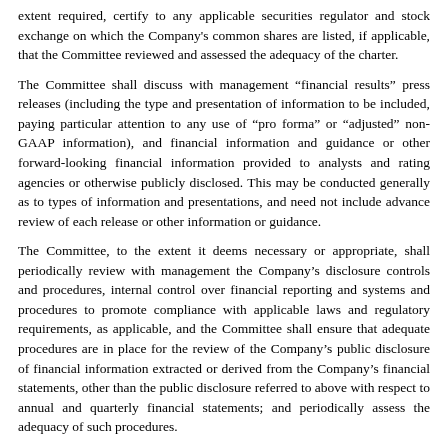extent required, certify to any applicable securities regulator and stock exchange on which the Company's common shares are listed, if applicable, that the Committee reviewed and assessed the adequacy of the charter.
The Committee shall discuss with management “financial results” press releases (including the type and presentation of information to be included, paying particular attention to any use of “pro forma” or “adjusted” non-GAAP information), and financial information and guidance or other forward-looking financial information provided to analysts and rating agencies or otherwise publicly disclosed. This may be conducted generally as to types of information and presentations, and need not include advance review of each release or other information or guidance.
The Committee, to the extent it deems necessary or appropriate, shall periodically review with management the Company’s disclosure controls and procedures, internal control over financial reporting and systems and procedures to promote compliance with applicable laws and regulatory requirements, as applicable, and the Committee shall ensure that adequate procedures are in place for the review of the Company’s public disclosure of financial information extracted or derived from the Company’s financial statements, other than the public disclosure referred to above with respect to annual and quarterly financial statements; and periodically assess the adequacy of such procedures.
The Committee shall periodically:
inquire of management and the independent auditors about